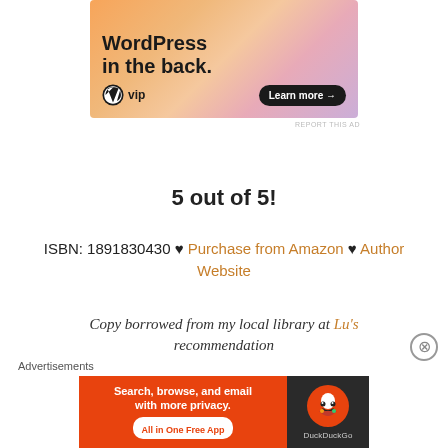[Figure (illustration): WordPress VIP advertisement banner with colorful gradient background showing 'WordPress in the back.' text, WP VIP logo, and 'Learn more →' button]
REPORT THIS AD
5 out of 5!
ISBN: 1891830430 ♥ Purchase from Amazon ♥ Author Website
Copy borrowed from my local library at Lu's recommendation
[Figure (illustration): DuckDuckGo advertisement: 'Search, browse, and email with more privacy. All in One Free App' with DuckDuckGo logo on dark background]